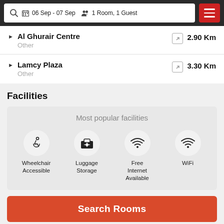06 Sep - 07 Sep   1 Room, 1 Guest
Al Ghurair Centre — Other — 2.90 Km
Lamcy Plaza — Other — 3.30 Km
Facilities
Most popular facilities
Wheelchair Accessible
Luggage Storage
Free Internet Available
WiFi
Search Rooms